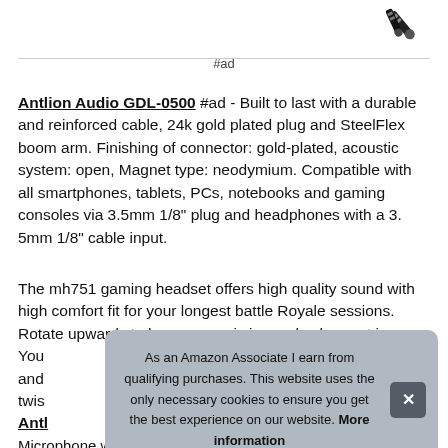[Figure (photo): Gold audio plug connectors on white background, top-right corner]
#ad
Antlion Audio GDL-0500 #ad - Built to last with a durable and reinforced cable, 24k gold plated plug and SteelFlex boom arm. Finishing of connector: gold-plated, acoustic system: open, Magnet type: neodymium. Compatible with all smartphones, tablets, PCs, notebooks and gaming consoles via 3.5mm 1/8" plug and headphones with a 3. 5mm 1/8" cable input.
The mh751 gaming headset offers high quality sound with high comfort fit for your longest battle Royale sessions. Rotate upwards to keep your mic in reach when not in use. You and twis
As an Amazon Associate I earn from qualifying purchases. This website uses the only necessary cookies to ensure you get the best experience on our website. More information
Antl
Microphone with Noise Canceling and Omni Directional Audio